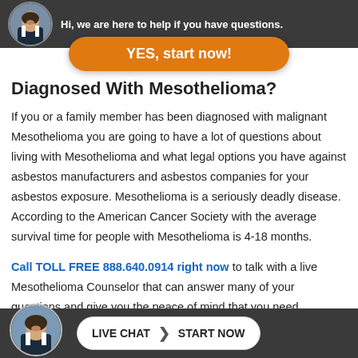[Figure (screenshot): Top dark navigation bar with avatar photo of bearded man in suit and partial text 'Hi, we are here to help if you have questions.']
[Figure (other): Orange rounded button with text 'YES, start now!']
Diagnosed With Mesothelioma?
If you or a family member has been diagnosed with malignant Mesothelioma you are going to have a lot of questions about living with Mesothelioma and what legal options you have against asbestos manufacturers and asbestos companies for your asbestos exposure. Mesothelioma is a seriously deadly disease. According to the American Cancer Society with the average survival time for people with Mesothelioma is 4-18 months.
Call TOLL FREE 888.640.0914 right now to talk with a live Mesothelioma Counselor that can answer many of your questions and give you the peace of mind that you need.
Family Member Died From Mesothelio...
[Figure (screenshot): Bottom dark bar with avatar photo of bearded man and Live Chat / Start Now button]